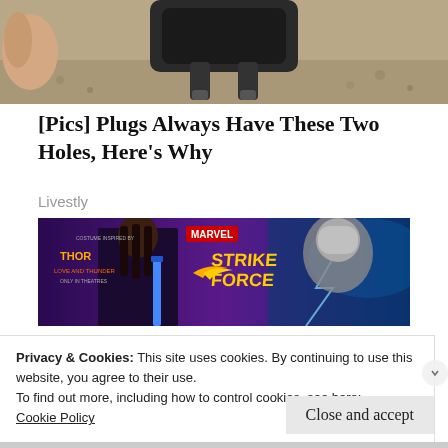[Figure (photo): Close-up photo of a black electrical plug with two prongs on a blurred stone/gravel background, with a hand partially visible]
[Pics] Plugs Always Have These Two Holes, Here's Why
Livestly
[Figure (photo): Marvel Strike Force advertisement banner featuring Thor: Love and Thunder characters — a female warrior with braids holding a blue sword and Thor in silver helmet with lightning, on purple background]
Privacy & Cookies: This site uses cookies. By continuing to use this website, you agree to their use.
To find out more, including how to control cookies, see here:
Cookie Policy
Close and accept